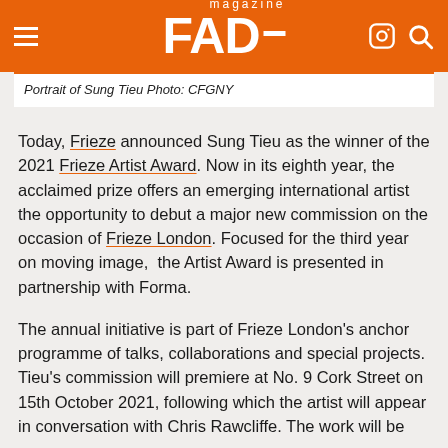FAD magazine
Portrait of Sung Tieu Photo: CFGNY
Today, Frieze announced Sung Tieu as the winner of the 2021 Frieze Artist Award. Now in its eighth year, the acclaimed prize offers an emerging international artist the opportunity to debut a major new commission on the occasion of Frieze London. Focused for the third year on moving image,  the Artist Award is presented in partnership with Forma.
The annual initiative is part of Frieze London's anchor programme of talks, collaborations and special projects. Tieu's commission will premiere at No. 9 Cork Street on 15th October 2021, following which the artist will appear in conversation with Chris Rawcliffe. The work will be